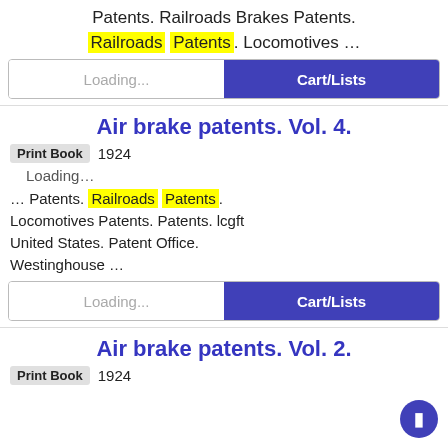Patents. Railroads Brakes Patents. Railroads Patents. Locomotives …
Loading...  Cart/Lists
Air brake patents. Vol. 4.
Print Book  1924
Loading…
… Patents. Railroads Patents. Locomotives Patents. Patents. lcgft United States. Patent Office. Westinghouse …
Loading...  Cart/Lists
Air brake patents. Vol. 2.
Print Book  1924